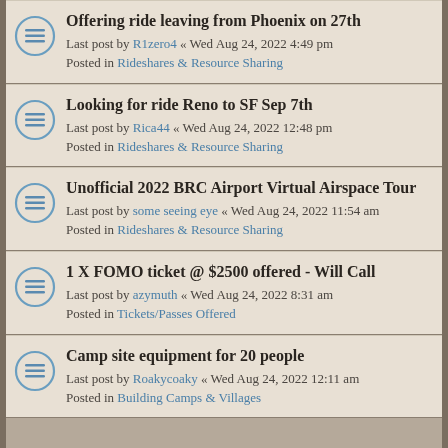Offering ride leaving from Phoenix on 27th
Last post by R1zero4 « Wed Aug 24, 2022 4:49 pm
Posted in Rideshares & Resource Sharing
Looking for ride Reno to SF Sep 7th
Last post by Rica44 « Wed Aug 24, 2022 12:48 pm
Posted in Rideshares & Resource Sharing
Unofficial 2022 BRC Airport Virtual Airspace Tour
Last post by some seeing eye « Wed Aug 24, 2022 11:54 am
Posted in Rideshares & Resource Sharing
1 X FOMO ticket @ $2500 offered - Will Call
Last post by azymuth « Wed Aug 24, 2022 8:31 am
Posted in Tickets/Passes Offered
Camp site equipment for 20 people
Last post by Roakycoaky « Wed Aug 24, 2022 12:11 am
Posted in Building Camps & Villages